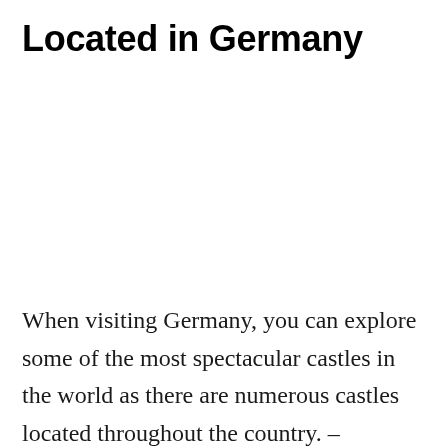Located in Germany
When visiting Germany, you can explore some of the most spectacular castles in the world as there are numerous castles located throughout the country. – According to some